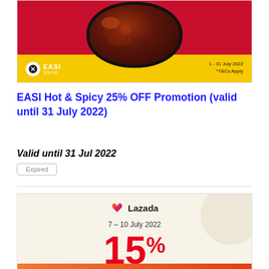[Figure (photo): EASI Hot & Spicy food promotion banner with dark pan of spicy food on red and yellow background. EASI logo bottom left. Text: 1 - 31 July 2022, *T&Cs Apply]
EASI Hot & Spicy 25% OFF Promotion (valid until 31 July 2022)
Valid until 31 Jul 2022
Expired
[Figure (photo): Lazada promotion banner with Lazada heart logo, dates 7 - 10 July 2022, and large red 15% OFF text on cream background]